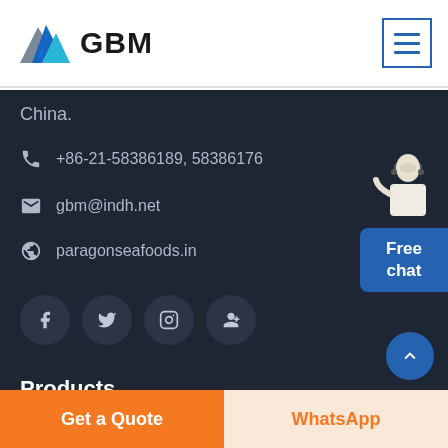[Figure (logo): GBM logo with mountain/chevron graphic in blue and gray, company name GBM in bold black]
[Figure (other): Hamburger menu icon with three horizontal blue lines inside a blue-bordered square]
China.
+86-21-58386189, 58386176
gbm@indh.net
paragonseafoods.in
[Figure (other): Social media icons row: Facebook, Twitter, Instagram, Google+ in dark circular buttons]
[Figure (other): Free chat widget button in blue on right side with customer service representative image]
Products
[Figure (other): Scroll-to-top blue circular button with upward chevron arrow]
Get a Quote
WhatsApp